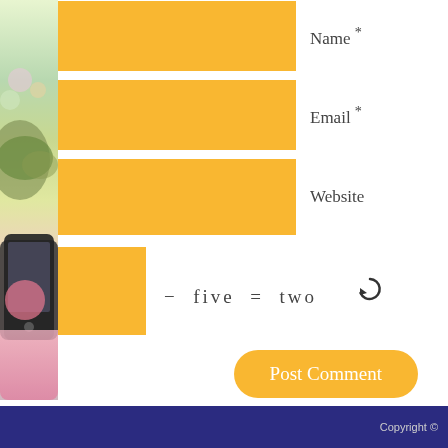[Figure (illustration): Left sidebar with colorful watercolor/paint splash decorative illustration including green, pink, and dark elements]
Name *
Email *
Website
− five = two ↺
Post Comment
← Religious Talk Radio: Is it Growing in the U.S?
Copyright ©